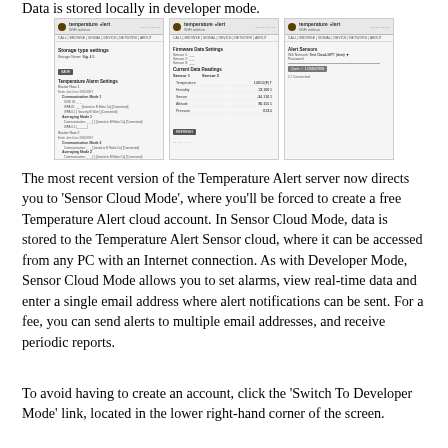Data is stored locally in developer mode.
[Figure (screenshot): Three screenshots of the Temperature Alert server interface showing different configuration panels including sensor settings, communication modes, and network configuration.]
The most recent version of the Temperature Alert server now directs you to 'Sensor Cloud Mode', where you'll be forced to create a free Temperature Alert cloud account. In Sensor Cloud Mode, data is stored to the Temperature Alert Sensor cloud, where it can be accessed from any PC with an Internet connection. As with Developer Mode, Sensor Cloud Mode allows you to set alarms, view real-time data and enter a single email address where alert notifications can be sent. For a fee, you can send alerts to multiple email addresses, and receive periodic reports.
To avoid having to create an account, click the 'Switch To Developer Mode' link, located in the lower right-hand corner of the screen.